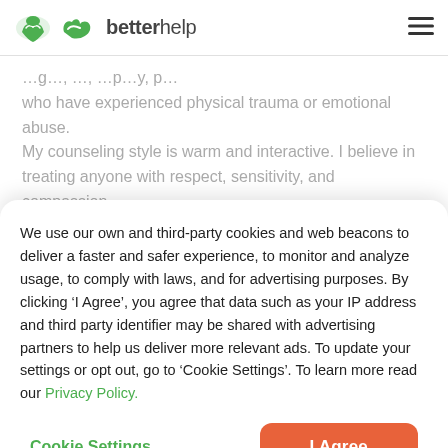betterhelp
who have experienced physical trauma or emotional abuse. My counseling style is warm and interactive. I believe in treating anyone with respect, sensitivity, and compassion. My approach combines cognitive-behavioral, humanistic, psychodynamic, and rational-emotive counseling. I will
We use our own and third-party cookies and web beacons to deliver a faster and safer experience, to monitor and analyze usage, to comply with laws, and for advertising purposes. By clicking ‘I Agree’, you agree that data such as your IP address and third party identifier may be shared with advertising partners to help us deliver more relevant ads. To update your settings or opt out, go to ‘Cookie Settings’. To learn more read our Privacy Policy.